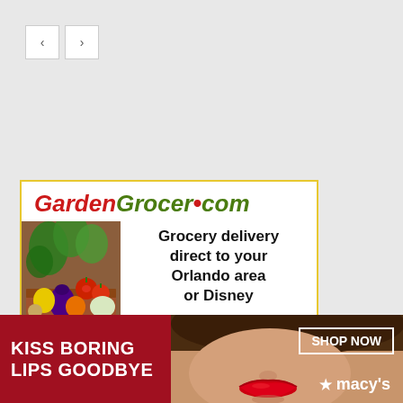[Figure (screenshot): Navigation arrow buttons, previous and next, with light gray borders on white background]
[Figure (illustration): GardenGrocer.com advertisement banner with yellow border. Shows the GardenGrocer.com logo in red and green italic text, a photo of fresh vegetables, and the text 'Grocery delivery direct to your Orlando area or Disney']
[Figure (illustration): Macy's advertisement banner at bottom of page on dark red background. Shows text 'KISS BORING LIPS GOODBYE' on the left, a woman's face with red lips in the center, and 'SHOP NOW' button with Macy's star logo on the right.]